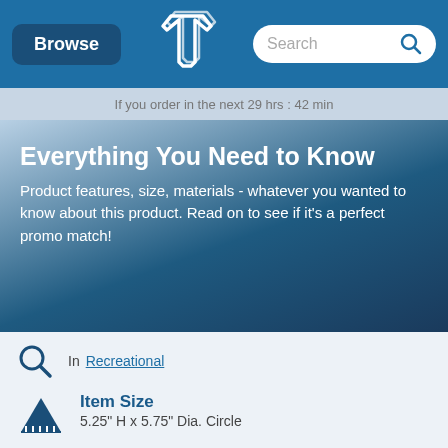Browse | [Logo] | Search
If you order in the next 29 hrs : 42 min
Everything You Need to Know
Product features, size, materials - whatever you wanted to know about this product. Read on to see if it's a perfect promo match!
In Recreational
Item Size
5.25" H x 5.75" Dia. Circle
Maximum Logo Size
1.7" H x 2" W - Screen Print
Maximum Imprint Colors